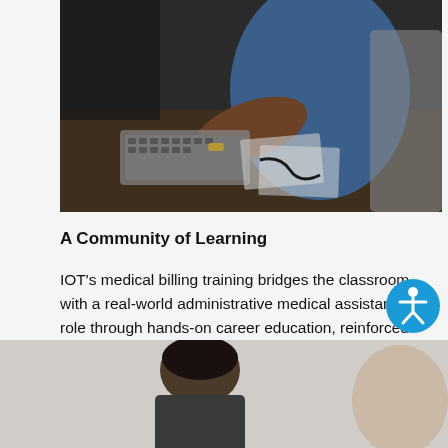[Figure (photo): A person in blue scrubs working at a desk with a keyboard and papers, a phone visible]
A Community of Learning
IOT's medical billing training bridges the classroom with a real-world administrative medical assistant role through hands-on career education, reinforced by experienced instructors and a supportive peer network.
[Figure (photo): Partial view of a person from behind, bottom of page]